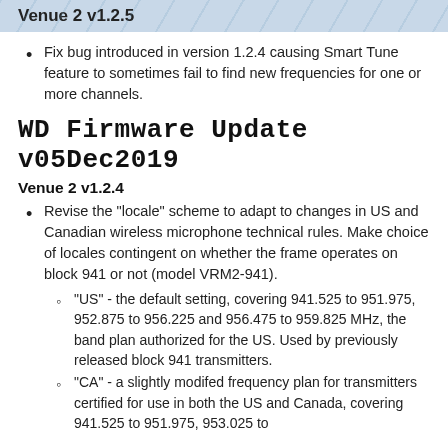Venue 2 v1.2.5
Fix bug introduced in version 1.2.4 causing Smart Tune feature to sometimes fail to find new frequencies for one or more channels.
WD Firmware Update v05Dec2019
Venue 2 v1.2.4
Revise the "locale" scheme to adapt to changes in US and Canadian wireless microphone technical rules. Make choice of locales contingent on whether the frame operates on block 941 or not (model VRM2-941).
"US" - the default setting, covering 941.525 to 951.975, 952.875 to 956.225 and 956.475 to 959.825 MHz, the band plan authorized for the US. Used by previously released block 941 transmitters.
"CA" - a slightly modifed frequency plan for transmitters certified for use in both the US and Canada, covering 941.525 to 951.975, 953.025 to